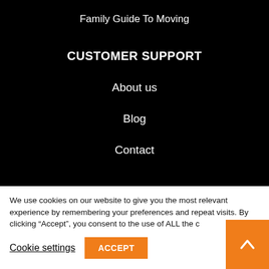Family Guide To Moving
CUSTOMER SUPPORT
About us
Blog
Contact
We use cookies on our website to give you the most relevant experience by remembering your preferences and repeat visits. By clicking “Accept”, you consent to the use of ALL the c
Cookie settings
ACCEPT